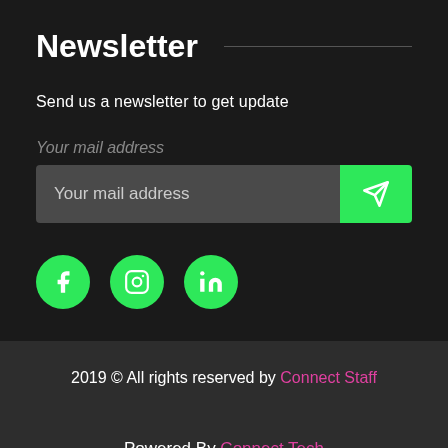Newsletter
Send us a newsletter to get update
Your mail address
[Figure (screenshot): Email input field with placeholder 'Your mail address' and a green send button with paper plane icon]
[Figure (infographic): Three green circular social media icons: Facebook, Instagram, LinkedIn]
2019 © All rights reserved by Connect Staff
Powered By Connect Tech